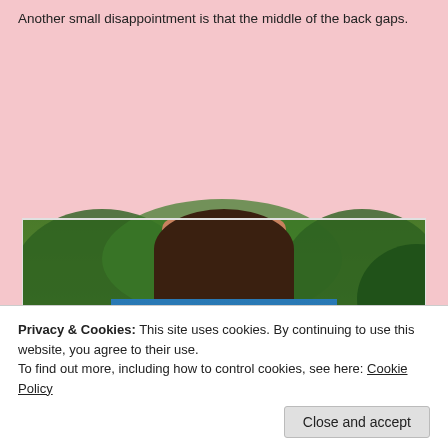Another small disappointment is that the middle of the back gaps.
[Figure (photo): Back view of a person wearing a sleeveless top/dress with a solid blue upper section and a colorful tie-dye patterned lower back panel in blue, green, and dark tones. The background is a grassy outdoor area with trees.]
Privacy & Cookies: This site uses cookies. By continuing to use this website, you agree to their use.
To find out more, including how to control cookies, see here: Cookie Policy
Close and accept